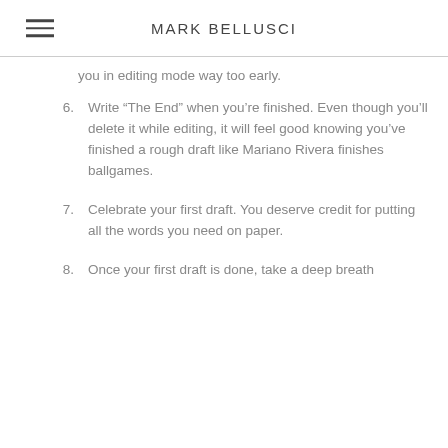MARK BELLUSCI
you in editing mode way too early.
6.  Write “The End” when you’re finished. Even though you’ll delete it while editing, it will feel good knowing you’ve finished a rough draft like Mariano Rivera finishes ballgames.
7.  Celebrate your first draft. You deserve credit for putting all the words you need on paper.
8.  Once your first draft is done, take a deep breath